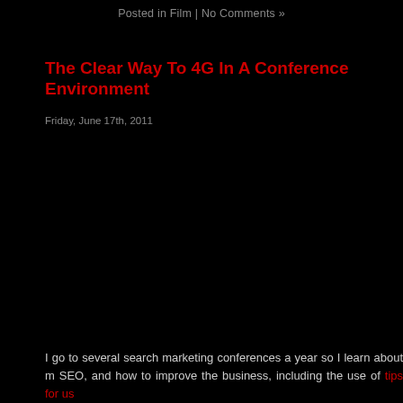Posted in Film | No Comments »
The Clear Way To 4G In A Conference Environment
Friday, June 17th, 2011
I go to several search marketing conferences a year so I learn about m SEO, and how to improve the business, including the use of tips for us